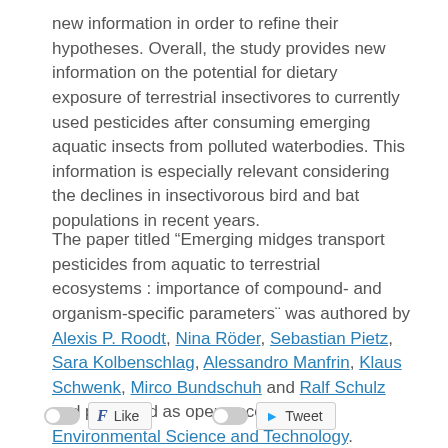new information in order to refine their hypotheses. Overall, the study provides new information on the potential for dietary exposure of terrestrial insectivores to currently used pesticides after consuming emerging aquatic insects from polluted waterbodies. This information is especially relevant considering the declines in insectivorous bird and bat populations in recent years.
The paper titled “Emerging midges transport pesticides from aquatic to terrestrial ecosystems : importance of compound- and organism-specific parameters¨ was authored by Alexis P. Roodt, Nina Röder, Sebastian Pietz, Sara Kolbenschlag, Alessandro Manfrin, Klaus Schwenk, Mirco Bundschuh and Ralf Schulz and published as open access in Environmental Science and Technology.
[Figure (screenshot): Social sharing bar with toggle switches, a Facebook Like button, a toggle switch, and a Tweet button]